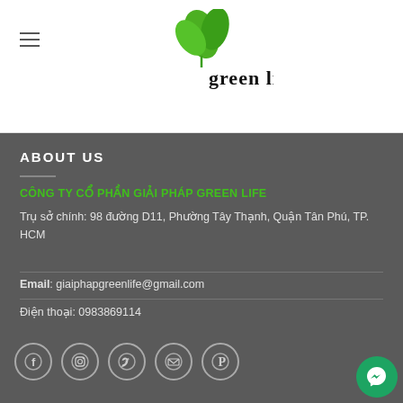[Figure (logo): Green Life company logo with leaf icon and 'green life' text]
ABOUT US
CÔNG TY CỔ PHẦN GIẢI PHÁP GREEN LIFE
Trụ sở chính: 98 đường D11, Phường Tây Thạnh, Quận Tân Phú, TP. HCM
Email: giaiphapgreenlife@gmail.com
Điện thoại: 0983869114
[Figure (infographic): Row of social media icon circles: Facebook, Instagram, Twitter, Email, Pinterest]